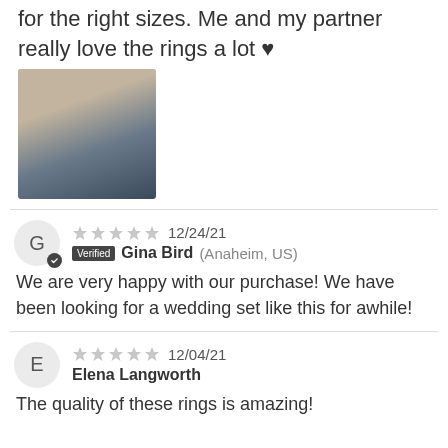for the right sizes. Me and my partner really love the rings a lot ♥
[Figure (photo): Photo of a hand wearing rings]
★★★★★ 12/24/21 Verified Gina Bird (Anaheim, US)
We are very happy with our purchase! We have been looking for a wedding set like this for awhile!
★★★★★ 12/04/21 Elena Langworth
The quality of these rings is amazing!